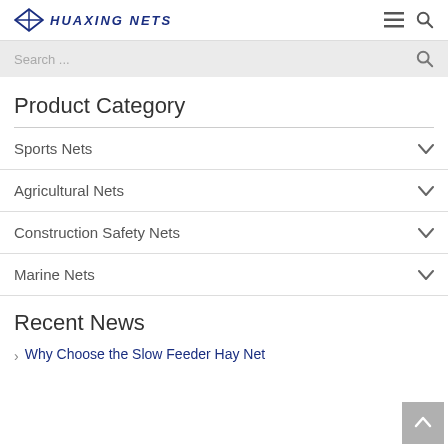HUAXING NETS
Search ...
Product Category
Sports Nets
Agricultural Nets
Construction Safety Nets
Marine Nets
Recent News
Why Choose the Slow Feeder Hay Net